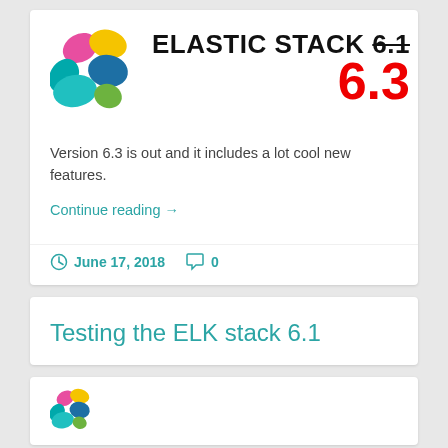[Figure (logo): Elastic Stack colorful flower/petal logo with multiple colored segments: pink, yellow, teal, blue, green]
ELASTIC STACK 6.1 (strikethrough) 6.3
Version 6.3 is out and it includes a lot cool new features.
Continue reading →
June 17, 2018   0
Testing the ELK stack 6.1
[Figure (logo): Partial Elastic Stack logo visible at bottom]